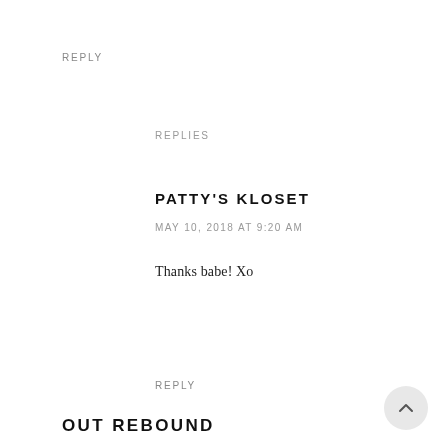REPLY
REPLIES
PATTY'S KLOSET
MAY 10, 2018 AT 9:20 AM
Thanks babe! Xo
REPLY
OUT REBOUND
NOVEMBER 2, 2018 AT 5:16 AM
Everything at wedding venues NYC was spot-on perfect at